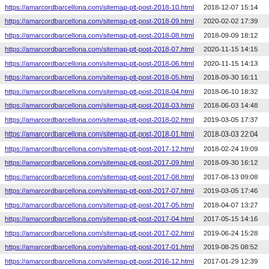| URL | Date |
| --- | --- |
| https://amarCordbarcellona.com/sitemap-pt-post-2018-10.html | 2018-12-07 15:14 |
| https://amarCordbarcellona.com/sitemap-pt-post-2018-09.html | 2020-02-02 17:39 |
| https://amarCordbarcellona.com/sitemap-pt-post-2018-08.html | 2018-09-09 18:12 |
| https://amarCordbarcellona.com/sitemap-pt-post-2018-07.html | 2020-11-15 14:15 |
| https://amarCordbarcellona.com/sitemap-pt-post-2018-06.html | 2020-11-15 14:13 |
| https://amarCordbarcellona.com/sitemap-pt-post-2018-05.html | 2018-09-30 16:11 |
| https://amarCordbarcellona.com/sitemap-pt-post-2018-04.html | 2018-06-10 18:32 |
| https://amarCordbarcellona.com/sitemap-pt-post-2018-03.html | 2018-06-03 14:48 |
| https://amarCordbarcellona.com/sitemap-pt-post-2018-02.html | 2019-03-05 17:37 |
| https://amarCordbarcellona.com/sitemap-pt-post-2018-01.html | 2018-03-03 22:04 |
| https://amarCordbarcellona.com/sitemap-pt-post-2017-12.html | 2018-02-24 19:09 |
| https://amarCordbarcellona.com/sitemap-pt-post-2017-09.html | 2018-09-30 16:12 |
| https://amarCordbarcellona.com/sitemap-pt-post-2017-08.html | 2017-08-13 09:08 |
| https://amarCordbarcellona.com/sitemap-pt-post-2017-07.html | 2019-03-05 17:46 |
| https://amarCordbarcellona.com/sitemap-pt-post-2017-05.html | 2018-04-07 13:27 |
| https://amarCordbarcellona.com/sitemap-pt-post-2017-04.html | 2017-05-15 14:16 |
| https://amarCordbarcellona.com/sitemap-pt-post-2017-02.html | 2019-06-24 15:28 |
| https://amarCordbarcellona.com/sitemap-pt-post-2017-01.html | 2019-08-25 08:52 |
| https://amarCordbarcellona.com/sitemap-pt-post-2016-12.html | 2017-01-29 12:39 |